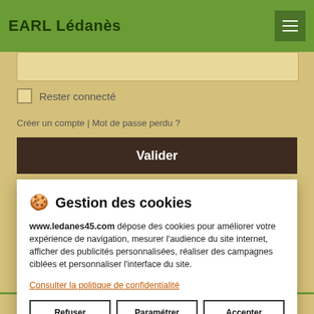EARL Lédanès
Rester connecté
Créer un compte | Mot de passe perdu ?
Valider
🍪 Gestion des cookies
www.ledanes45.com dépose des cookies pour améliorer votre expérience de navigation, mesurer l'audience du site internet, afficher des publicités personnalisées, réaliser des campagnes ciblées et personnaliser l'interface du site.
Consulter la politique de confidentialité
Refuser
Paramétrer
Accepter
Album photos